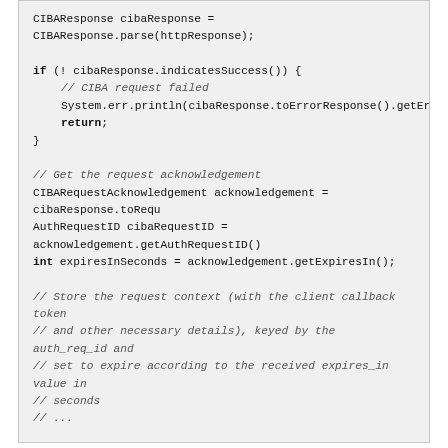[Figure (other): Code block showing Java code for CIBA response processing: checking indicatesSuccess(), getting acknowledgement, authRequestID, expiresInSeconds, and comments about storing request context.]
Processing callbacks
Example code for processing a callback at the client notification endpoint, assuming the client is registered for the push token delivery method. The IdP is going to POST the issued tokens (or an error message if authentication failed) directly to the client